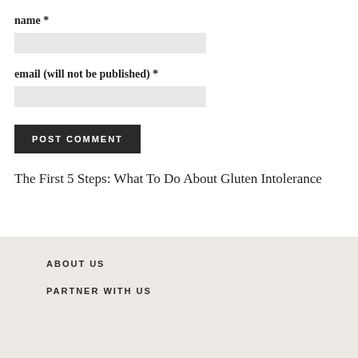name *
email (will not be published) *
POST COMMENT
The First 5 Steps: What To Do About Gluten Intolerance
ABOUT US
PARTNER WITH US